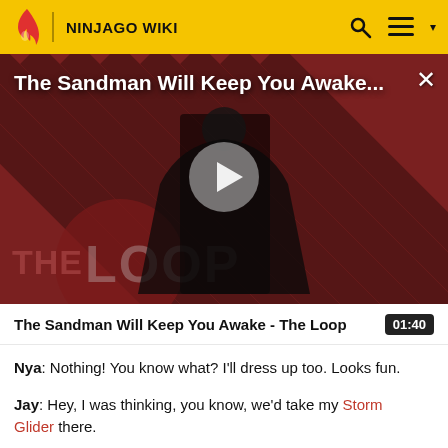NINJAGO WIKI
[Figure (screenshot): Video thumbnail showing a figure in black robes against a red diagonal-striped background with 'THE LOOP' text overlay. A play button is centered on the image. Title reads 'The Sandman Will Keep You Awake...']
The Sandman Will Keep You Awake - The Loop
Nya: Nothing! You know what? I'll dress up too. Looks fun.
Jay: Hey, I was thinking, you know, we'd take my Storm Glider there.